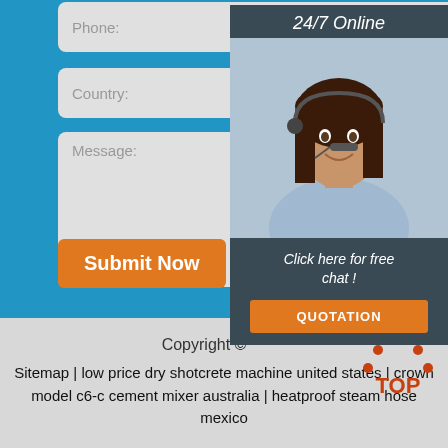Phone:
Country:
Message:
[Figure (photo): Customer service representative with headset, smiling, with '24/7 Online' header and 'Click here for free chat!' text and QUOTATION button]
Submit Now
Copyright ©
Sitemap | low price dry shotcrete machine united states | crown model c6-c cement mixer australia | heatproof steam hose mexico
[Figure (logo): TOP scroll-to-top icon in orange/red triangular design]